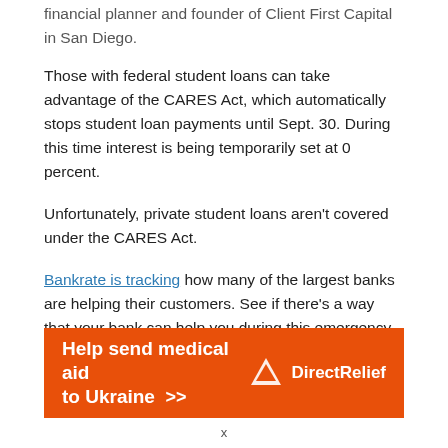financial planner and founder of Client First Capital in San Diego.
Those with federal student loans can take advantage of the CARES Act, which automatically stops student loan payments until Sept. 30. During this time interest is being temporarily set at 0 percent.
Unfortunately, private student loans aren't covered under the CARES Act.
Bankrate is tracking how many of the largest banks are helping their customers. See if there's a way that your bank can help you during this emergency.
3. Set a furlough budget
[cut off text below section header]
[Figure (other): Orange advertisement banner for Direct Relief: 'Help send medical aid to Ukraine >>' with Direct Relief logo on the right.]